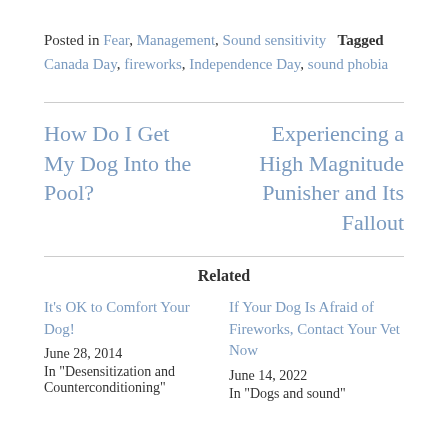Posted in Fear, Management, Sound sensitivity   Tagged Canada Day, fireworks, Independence Day, sound phobia
How Do I Get My Dog Into the Pool?
Experiencing a High Magnitude Punisher and Its Fallout
Related
It's OK to Comfort Your Dog!
June 28, 2014
In "Desensitization and Counterconditioning"
If Your Dog Is Afraid of Fireworks, Contact Your Vet Now
June 14, 2022
In "Dogs and sound"